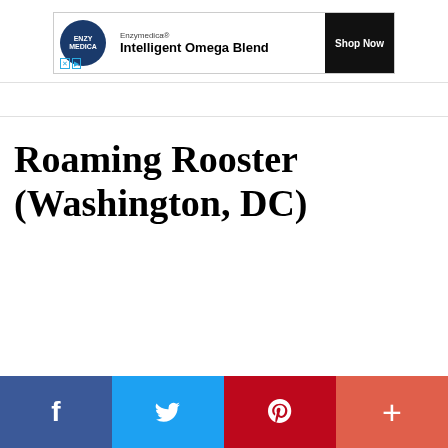[Figure (other): Enzymedica advertisement banner with logo and 'Intelligent Omega Blend' tagline and 'Shop Now' button]
Roaming Rooster (Washington, DC)
[Figure (other): Social share bar with Facebook, Twitter, Pinterest, and More (+) buttons]